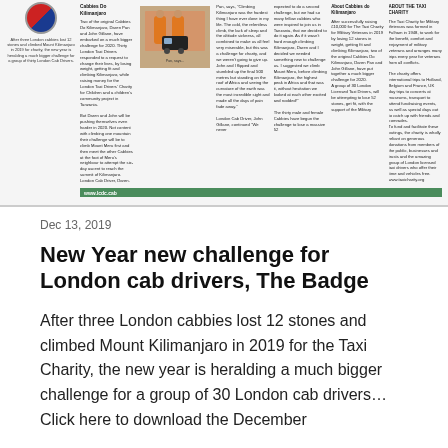[Figure (photo): Newspaper clipping about London cabbies climbing Mount Kilimanjaro for the Taxi Charity, featuring a photo of two men in orange shirts and a black cab, with multiple columns of text and a green footer bar reading www.lcdc.cab]
Dec 13, 2019
New Year new challenge for London cab drivers, The Badge
After three London cabbies lost 12 stones and climbed Mount Kilimanjaro in 2019 for the Taxi Charity, the new year is heralding a much bigger challenge for a group of 30 London cab drivers… Click here to download the December